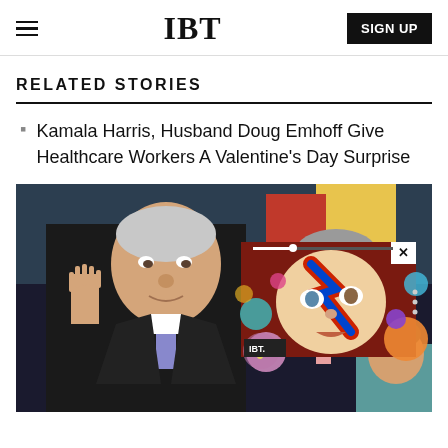IBT  SIGN UP
RELATED STORIES
Kamala Harris, Husband Doug Emhoff Give Healthcare Workers A Valentine's Day Surprise
[Figure (photo): Joe Biden raising his right hand as if taking an oath, wearing a dark suit and blue tie, with a masked man behind him and a woman in a teal blazer, along with an overlay video thumbnail showing a David Bowie-style illustrated portrait with colorful circles on a red background, with an IBT logo badge.]